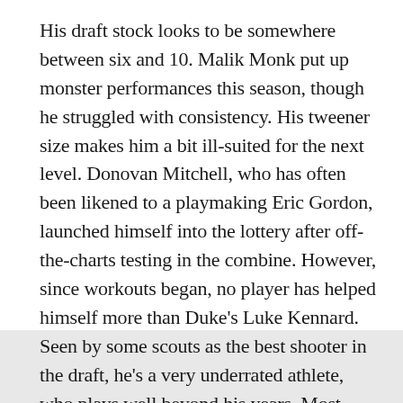His draft stock looks to be somewhere between six and 10. Malik Monk put up monster performances this season, though he struggled with consistency. His tweener size makes him a bit ill-suited for the next level. Donovan Mitchell, who has often been likened to a playmaking Eric Gordon, launched himself into the lottery after off-the-charts testing in the combine. However, since workouts began, no player has helped himself more than Duke's Luke Kennard. Seen by some scouts as the best shooter in the draft, he's a very underrated athlete, who plays well beyond his years. Most mock drafts have him in the 10-14 range, though some higher-picking teams are showing interest as well.